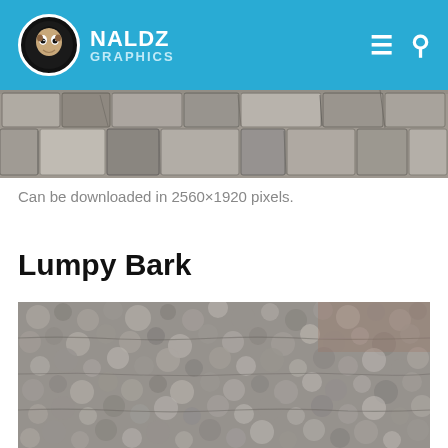NALDZ GRAPHICS
[Figure (photo): Stone wall texture photograph showing rough cracked stone blocks in gray tones]
Can be downloaded in 2560×1920 pixels.
Lumpy Bark
[Figure (photo): Lumpy bark texture photograph showing rough bumpy tree bark in gray-brown tones]